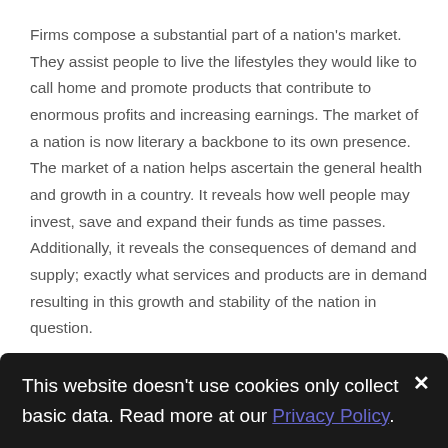Firms compose a substantial part of a nation's market. They assist people to live the lifestyles they would like to call home and promote products that contribute to enormous profits and increasing earnings. The market of a nation is now literary a backbone to its own presence. The market of a nation helps ascertain the general health and growth in a country. It reveals how well people may invest, save and expand their funds as time passes. Additionally, it reveals the consequences of demand and supply; exactly what services and products are in demand resulting in this growth and stability of the nation in question.
This website doesn't use cookies only collect basic data. Read more at our Privacy Policy.